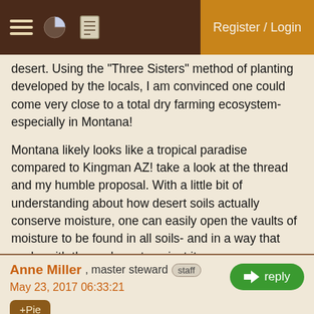Register / Login
desert. Using the "Three Sisters" method of planting developed by the locals, I am convinced one could come very close to a total dry farming ecosystem- especially in Montana!
Montana likely looks like a tropical paradise compared to Kingman AZ! take a look at the thread and my humble proposal. With a little bit of understanding about how desert soils actually conserve moisture, one can easily open the vaults of moisture to be found in all soils- and in a way that works with the cycle, not against it.
https://permies.com/t/31794/desert/Desert-Corn-Growing-Techniques#247655
YLE
Anne Miller , master steward staff
May 23, 2017 06:33:21
+Pie reply